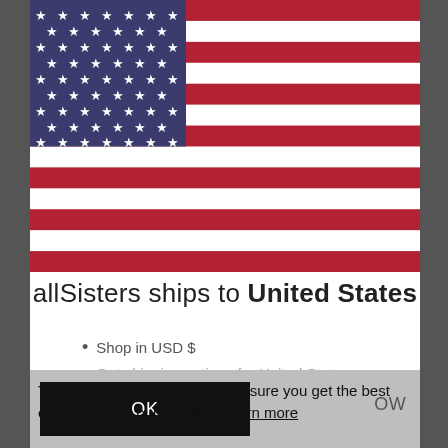[Figure (illustration): US flag (stars and stripes) shown in upper portion of a modal dialog]
allSisters ships to United States
Shop in USD $
Get shipping options for United States
This website uses cookies to ensure you get the best experience on our website. Learn more
OK
OW